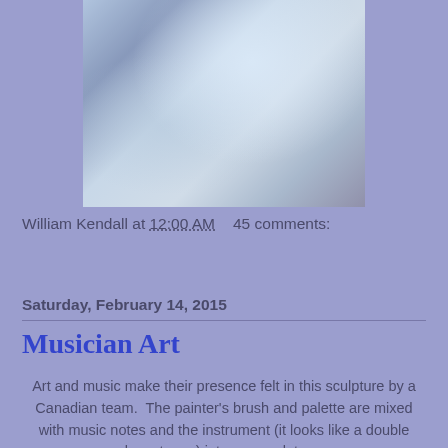[Figure (photo): Ice sculpture of figures including what appears to be musicians, created by a Canadian team, shown against a dark blue background]
William Kendall at 12:00 AM   45 comments:
Share
Saturday, February 14, 2015
Musician Art
Art and music make their presence felt in this sculpture by a Canadian team.  The painter's brush and palette are mixed with music notes and the instrument (it looks like a double bass to me) into one sculpture.